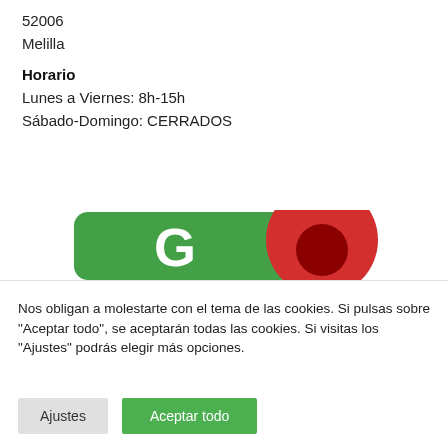52006
Melilla
Horario
Lunes a Viernes: 8h-15h
Sábado-Domingo: CERRADOS
[Figure (logo): Green rounded rectangle with white letter G, overlapping red circle with dark red inner circle — Google Maps style icon, partially cropped]
Nos obligan a molestarte con el tema de las cookies. Si pulsas sobre "Aceptar todo", se aceptarán todas las cookies. Si visitas los "Ajustes" podrás elegir más opciones.
Ajustes   Aceptar todo